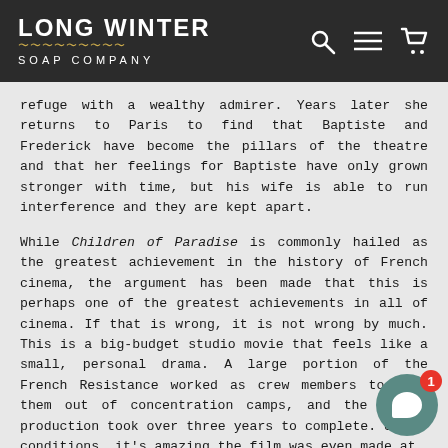LONG WINTER SOAP COMPANY
refuge with a wealthy admirer. Years later she returns to Paris to find that Baptiste and Frederick have become the pillars of the theatre and that her feelings for Baptiste have only grown stronger with time, but his wife is able to run interference and they are kept apart.
While Children of Paradise is commonly hailed as the greatest achievement in the history of French cinema, the argument has been made that this is perhaps one of the greatest achievements in all of cinema. If that is wrong, it is not wrong by much. This is a big-budget studio movie that feels like a small, personal drama. A large portion of the French Resistance worked as crew members to keep them out of concentration camps, and the entire production took over three years to complete. Under those conditions, it's amazing the film was even made at all. Somehow, they managed to come up with one of the best things you'll ever see on film.